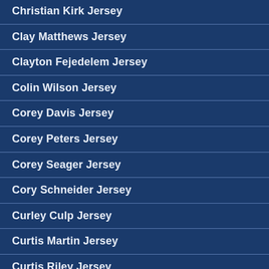Christian Kirk Jersey
Clay Matthews Jersey
Clayton Fejedelem Jersey
Colin Wilson Jersey
Corey Davis Jersey
Corey Peters Jersey
Corey Seager Jersey
Cory Schneider Jersey
Curley Culp Jersey
Curtis Martin Jersey
Curtis Riley Jersey